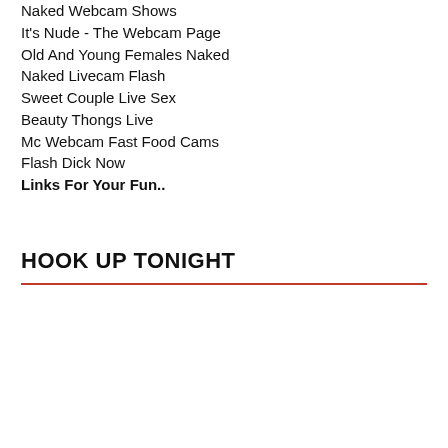Naked Webcam Shows
It's Nude - The Webcam Page
Old And Young Females Naked
Naked Livecam Flash
Sweet Couple Live Sex
Beauty Thongs Live
Mc Webcam Fast Food Cams
Flash Dick Now
Links For Your Fun..
HOOK UP TONIGHT